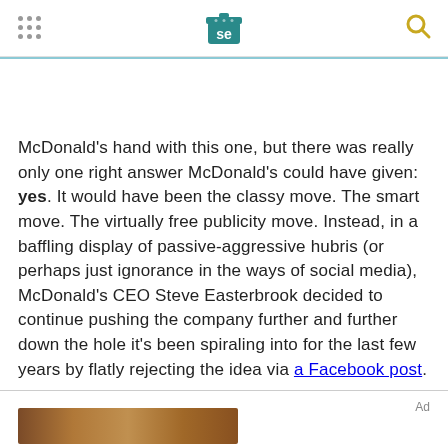SE logo header with navigation dots and search icon
McDonald's hand with this one, but there was really only one right answer McDonald's could have given: yes. It would have been the classy move. The smart move. The virtually free publicity move. Instead, in a baffling display of passive-aggressive hubris (or perhaps just ignorance in the ways of social media), McDonald's CEO Steve Easterbrook decided to continue pushing the company further and further down the hole it's been spiraling into for the last few years by flatly rejecting the idea via a Facebook post.
Ad